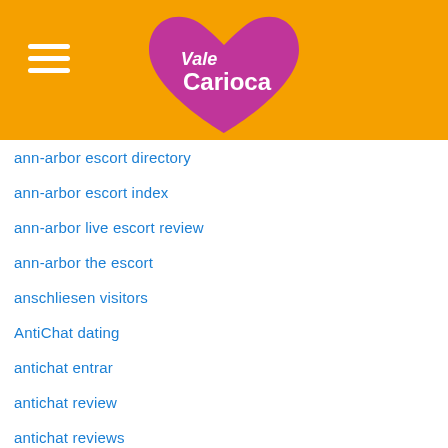[Figure (logo): Vale Carioca logo - pink heart shape with white text 'Vale Carioca' on orange background header]
ann-arbor escort directory
ann-arbor escort index
ann-arbor live escort review
ann-arbor the escort
anschliesen visitors
AntiChat dating
antichat entrar
antichat review
antichat reviews
antichat seiten
Antichat spotkania
AntiChat visitors
antichat-recenze Recenze
antiland best dating sites